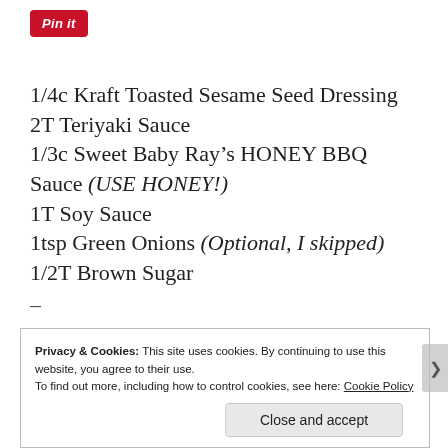[Figure (logo): Pinterest 'Pin it' button in red with italic white text]
1/4c Kraft Toasted Sesame Seed Dressing
2T Teriyaki Sauce
1/3c Sweet Baby Ray’s HONEY BBQ Sauce (USE HONEY!)
1T Soy Sauce
1tsp Green Onions (Optional, I skipped)
1/2T Brown Sugar
–
Sea Salt
Pepper
1/2T Olive Oil
Privacy & Cookies: This site uses cookies. By continuing to use this website, you agree to their use. To find out more, including how to control cookies, see here: Cookie Policy
Close and accept